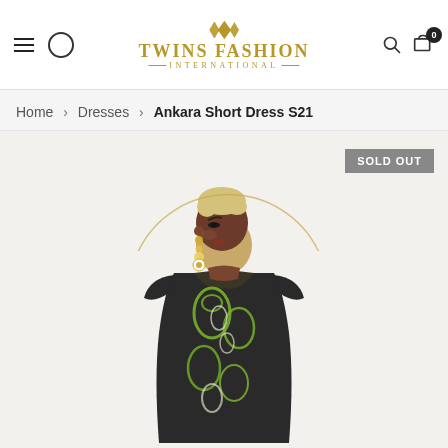Twins Fashion International — navigation header with hamburger menu, logo, search and cart icons
Home > Dresses > Ankara Short Dress S21
[Figure (photo): Model wearing an Ankara Short Dress S21 — a dark patterned dress with green and white paisley Ankara print, cap sleeves, v-neckline with ruffled collar. Model has short bleached hair and gold flower drop earrings. A decorative gold arc circle is partially visible behind the model. A 'SOLD OUT' badge appears in the top right of the image.]